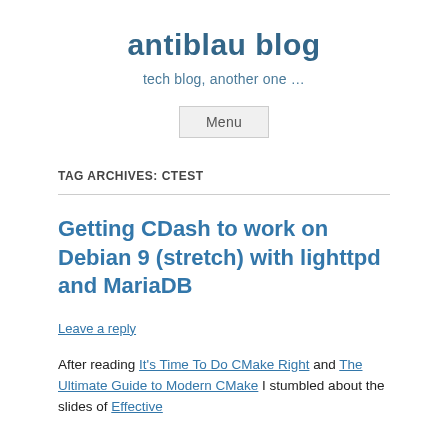antiblau blog
tech blog, another one …
Menu
TAG ARCHIVES: CTEST
Getting CDash to work on Debian 9 (stretch) with lighttpd and MariaDB
Leave a reply
After reading It's Time To Do CMake Right and The Ultimate Guide to Modern CMake I stumbled about the slides of Effective